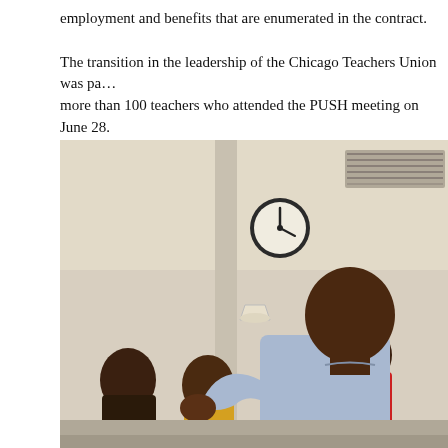employment and benefits that are enumerated in the contract.

The transition in the leadership of the Chicago Teachers Union was pa… more than 100 teachers who attended the PUSH meeting on June 28.
[Figure (photo): Indoor meeting room photo showing a large Black man in a light blue shirt gesturing with his hand while speaking, with several people seated behind him including a woman in red and a man in yellow. A round wall clock and HVAC vent are visible on the beige wall in the background.]